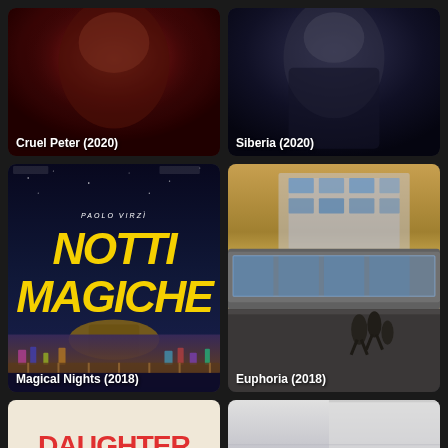[Figure (photo): Movie poster thumbnail for Cruel Peter (2020) — dark red background with shadowy face silhouette]
[Figure (photo): Movie poster thumbnail for Siberia (2020) — dark blue/black background with male figure silhouette]
[Figure (photo): Movie poster for Magical Nights (2018) — Italian film NOTTI MAGICHE by Paolo Virzì, colorful cityscape with yellow text on dark blue background]
[Figure (photo): Movie poster thumbnail for Euphoria (2018) — action scene with figures running near train]
[Figure (photo): Movie poster for Daughter of Mine — cream background with large red text DAUGHTER OF MINE]
[Figure (photo): Movie thumbnail — office/meeting room scene with silhouette figure and dark screens]